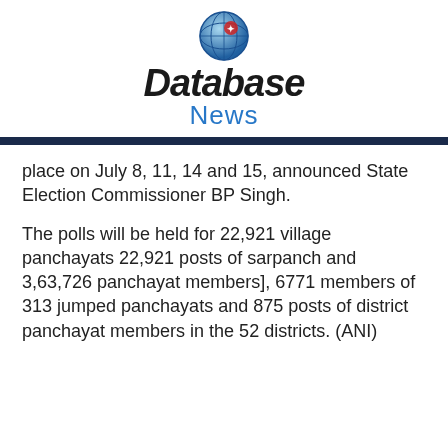[Figure (logo): Database News logo with globe icon above bold italic 'Database' text and blue 'News' subtitle]
place on July 8, 11, 14 and 15, announced State Election Commissioner BP Singh.
The polls will be held for 22,921 village panchayats 22,921 posts of sarpanch and 3,63,726 panchayat members], 6771 members of 313 jumped panchayats and 875 posts of district panchayat members in the 52 districts. (ANI)